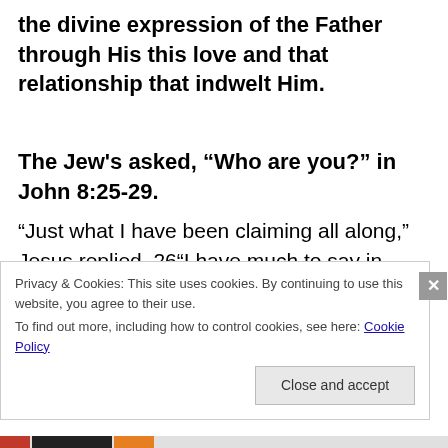the divine expression of the Father through His this love and that relationship that indwelt Him.
The Jew's asked, “Who are you?” in John 8:25-29.
“Just what I have been claiming all along,” Jesus replied. 26“I have much to say in judgment of you.
Privacy & Cookies: This site uses cookies. By continuing to use this website, you agree to their use.
To find out more, including how to control cookies, see here: Cookie Policy
Close and accept